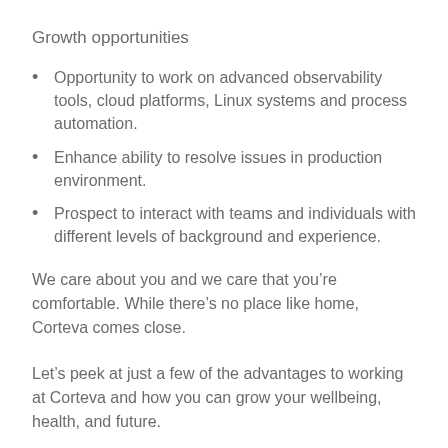Growth opportunities
Opportunity to work on advanced observability tools, cloud platforms, Linux systems and process automation.
Enhance ability to resolve issues in production environment.
Prospect to interact with teams and individuals with different levels of background and experience.
We care about you and we care that you’re comfortable. While there’s no place like home, Corteva comes close.
Let’s peek at just a few of the advantages to working at Corteva and how you can grow your wellbeing, health, and future.